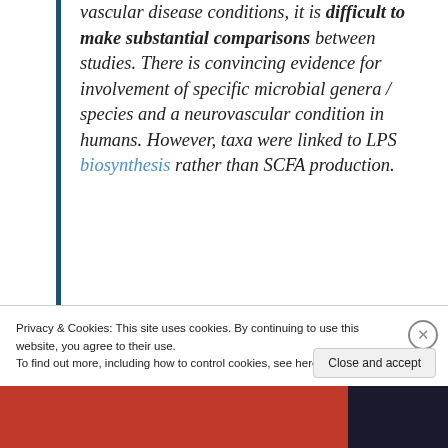vascular disease conditions, it is difficult to make substantial comparisons between studies. There is convincing evidence for involvement of specific microbial genera / species and a neurovascular condition in humans. However, taxa were linked to LPS biosynthesis rather than SCFA production.
3. Several studies suggest lasting microbial changes in response to
Privacy & Cookies: This site uses cookies. By continuing to use this website, you agree to their use.
To find out more, including how to control cookies, see here: Cookie Policy